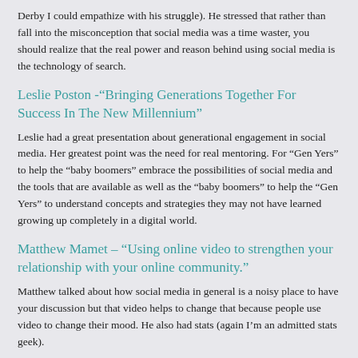Derby I could empathize with his struggle). He stressed that rather than fall into the misconception that social media was a time waster, you should realize that the real power and reason behind using social media is the technology of search.
Leslie Poston -“Bringing Generations Together For Success In The New Millennium”
Leslie had a great presentation about generational engagement in social media. Her greatest point was the need for real mentoring. For “Gen Yers” to help the “baby boomers” embrace the possibilities of social media and the tools that are available as well as the “baby boomers” to help the “Gen Yers” to understand concepts and strategies they may not have learned growing up completely in a digital world.
Matthew Mamet – “Using online video to strengthen your relationship with your online community.”
Matthew talked about how social media in general is a noisy place to have your discussion but that video helps to change that because people use video to change their mood. He also had stats (again I’m an admitted stats geek).